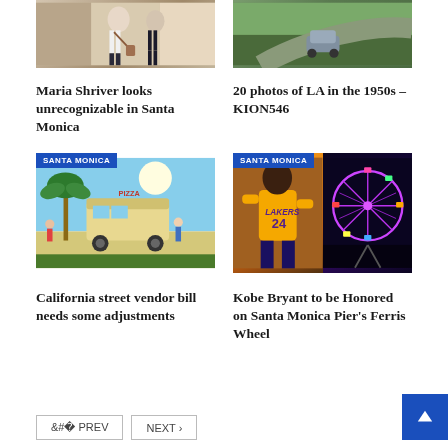[Figure (photo): Photo of Maria Shriver walking, wearing white top with crossbody bag and jeans]
Maria Shriver looks unrecognizable in Santa Monica
[Figure (photo): Aerial photo of vintage car on road in Los Angeles, 1950s]
20 photos of LA in the 1950s - KION546
[Figure (illustration): Illustration of California street food vendors with food trucks, palm trees, and beach scene. Badge: SANTA MONICA]
California street vendor bill needs some adjustments
[Figure (photo): Composite photo: Kobe Bryant in Lakers #24 jersey and Santa Monica Pier Ferris Wheel lit in purple. Badge: SANTA MONICA]
Kobe Bryant to be Honored on Santa Monica Pier's Ferris Wheel